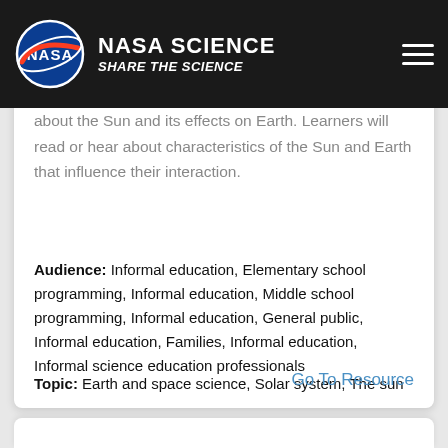NASA SCIENCE — SHARE THE SCIENCE
about the Sun and its effects on Earth. Learners will read or hear about characteristics of the Sun and Earth that influence their interaction.
Audience: Informal education, Elementary school programming, Informal education, Middle school programming, Informal education, General public, Informal education, Families, Informal education, Informal science education professionals
Topic: Earth and space science, Solar system, The sun
Materials Cost: Free
Go To Resource